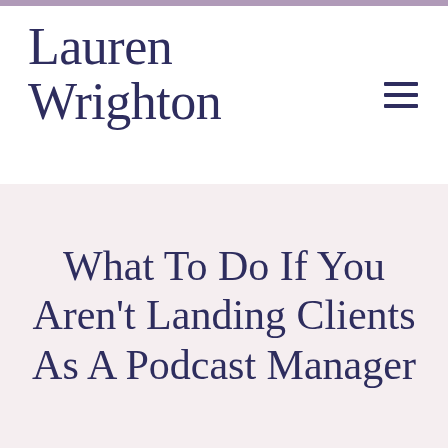Lauren Wrighton
What To Do If You Aren't Landing Clients As A Podcast Manager